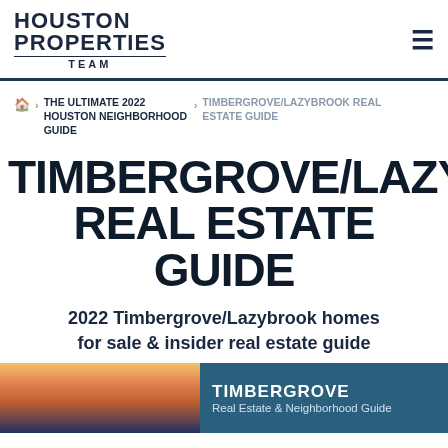HOUSTON PROPERTIES TEAM
Home > THE ULTIMATE 2022 HOUSTON NEIGHBORHOOD GUIDE > TIMBERGROVE/LAZYBROOK REAL ESTATE GUIDE
TIMBERGROVE/LAZYB REAL ESTATE GUIDE
2022 Timbergrove/Lazybrook homes for sale & insider real estate guide
[Figure (photo): Aerial/sunset photo of Timbergrove neighborhood on the left, and a blue panel on the right reading TIMBERGROVE Real Estate & Neighborhood Guide]